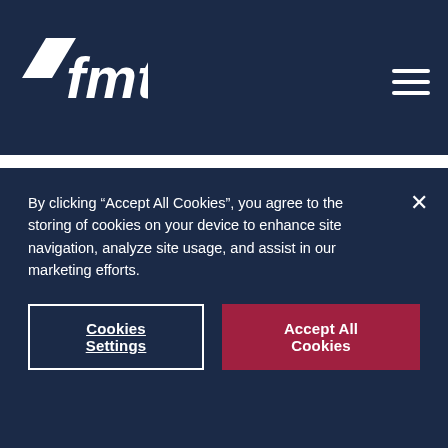FMT logo and navigation
How to Take Your Office to the Cloud with Office 365
Tracking and Reporting Projects using Office 365 and Project Online
How to Connect to Office 365 and Exchange Online in Less Than 2 Minutes using PowerShell
By clicking “Accept All Cookies”, you agree to the storing of cookies on your device to enhance site navigation, analyze site usage, and assist in our marketing efforts.
Cookies Settings | Accept All Cookies